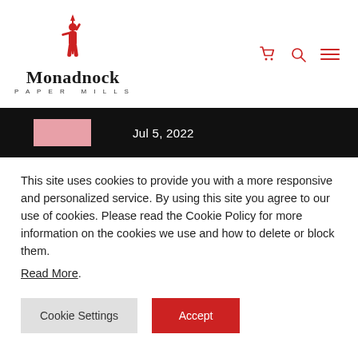[Figure (logo): Monadnock Paper Mills logo with a red figure holding a spear, serif company name and uppercase spaced subtitle 'PAPER MILLS']
Jul 5, 2022
This site uses cookies to provide you with a more responsive and personalized service. By using this site you agree to our use of cookies. Please read the Cookie Policy for more information on the cookies we use and how to delete or block them.
Read More.
Cookie Settings
Accept